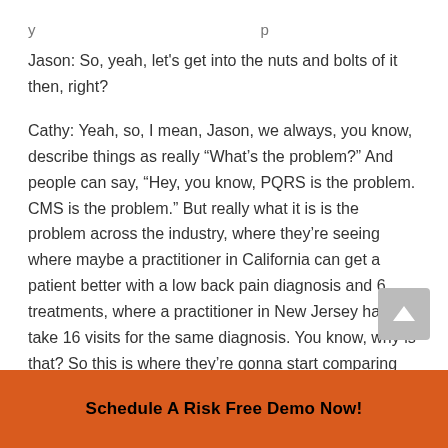Jason: So, yeah, let's get into the nuts and bolts of it then, right?
Cathy: Yeah, so, I mean, Jason, we always, you know, describe things as really “What’s the problem?” And people can say, “Hey, you know, PQRS is the problem. CMS is the problem.” But really what it is is the problem across the industry, where they’re seeing where maybe a practitioner in California can get a patient better with a low back pain diagnosis and 6 treatments, where a practitioner in New Jersey has to take 16 visits for the same diagnosis. You know, why is that? So this is where they’re gonna start comparing the peers, really, across the country to say, “Listen, does it take 6? Does it take 12? What does it take?” But in the meantime, as they’re trying to figure all of that out, t… CMS if we
[Figure (other): Scroll-to-top button with upward arrow, gray background]
Schedule A Risk Free Demo Now!